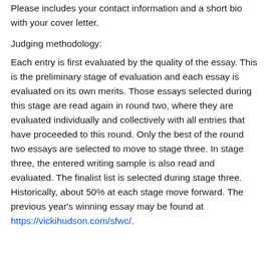Please includes your contact information and a short bio with your cover letter.
Judging methodology:
Each entry is first evaluated by the quality of the essay. This is the preliminary stage of evaluation and each essay is evaluated on its own merits. Those essays selected during this stage are read again in round two, where they are evaluated individually and collectively with all entries that have proceeded to this round. Only the best of the round two essays are selected to move to stage three. In stage three, the entered writing sample is also read and evaluated. The finalist list is selected during stage three. Historically, about 50% at each stage move forward. The previous year's winning essay may be found at https://vickihudson.com/sfwc/.